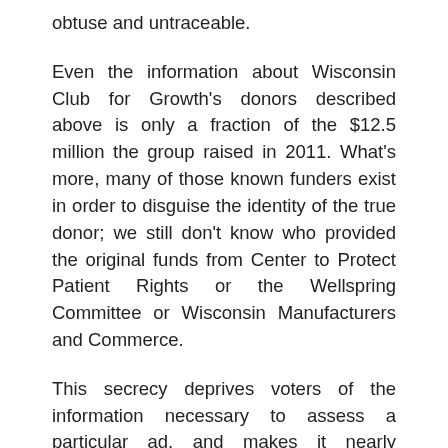obtuse and untraceable.
Even the information about Wisconsin Club for Growth's donors described above is only a fraction of the $12.5 million the group raised in 2011. What's more, many of those known funders exist in order to disguise the identity of the true donor; we still don't know who provided the original funds from Center to Protect Patient Rights or the Wellspring Committee or Wisconsin Manufacturers and Commerce.
This secrecy deprives voters of the information necessary to assess a particular ad, and makes it nearly impossible to track whether elected officials are giving those donors special treatment. Even if donors to Wisconsin Club for Growth are keeping their identities hidden from the public, they are likely making their names known to the beneficiaries of their spending.